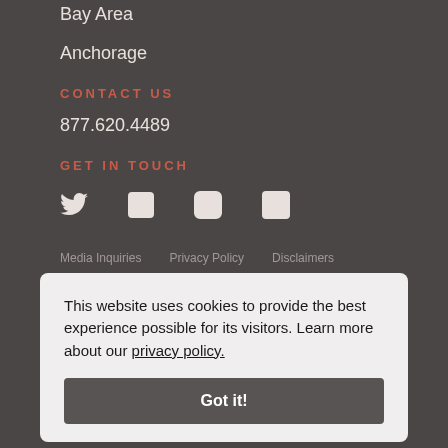Bay Area
Anchorage
CONTACT US
877.620.4489
GET IN TOUCH
[Figure (other): Social media icons: Twitter, Facebook, Instagram, LinkedIn]
Media Inquiries   Privacy Policy   Disclaimers
This website uses cookies to provide the best experience possible for its visitors. Learn more about our privacy policy.
Got it!